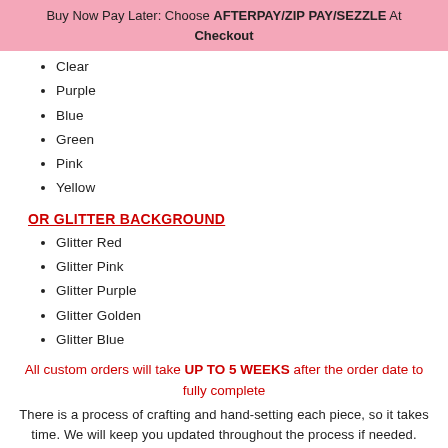Buy Now Pay Later: Choose AFTERPAY/ZIP PAY/SEZZLE At Checkout
Clear
Purple
Blue
Green
Pink
Yellow
OR GLITTER BACKGROUND
Glitter Red
Glitter Pink
Glitter Purple
Glitter Golden
Glitter Blue
All custom orders will take UP TO 5 WEEKS after the order date to fully complete
There is a process of crafting and hand-setting each piece, so it takes time. We will keep you updated throughout the process if needed.
Disclaimer: All Custom products are final sale and are not eligible for refund or exchange since it's a customized item and cannot be resold or canceled. Jewelry Care Disclaimer - While our pieces are NON-TARNISHABLE...